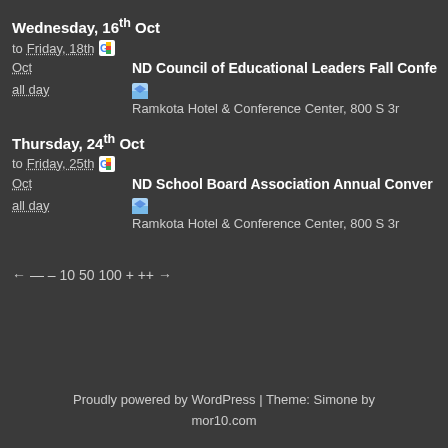Wednesday, 16th Oct
to Friday, 18th
Oct   ND Council of Educational Leaders Fall Confe...
all day   Ramkota Hotel & Conference Center, 800 S 3r...
Thursday, 24th Oct
to Friday, 25th
Oct   ND School Board Association Annual Conven...
all day   Ramkota Hotel & Conference Center, 800 S 3r...
← — – 10 50 100 + ++ →
Proudly powered by WordPress | Theme: Simone by mor10.com